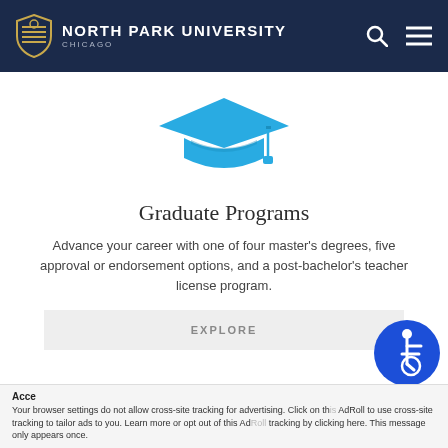NORTH PARK UNIVERSITY CHICAGO
[Figure (illustration): Blue graduation cap icon centered on white background]
Graduate Programs
Advance your career with one of four master’s degrees, five approval or endorsement options, and a post-bachelor’s teacher license program.
EXPLORE
[Figure (illustration): Blue circular accessibility icon (wheelchair symbol) in bottom right corner]
Acce
Your browser settings do not allow cross-site tracking for advertising. Click on this AdRoll to use cross-site tracking to tailor ads to you. Learn more or opt out of this AdRoll tracking by clicking here. This message only appears once.